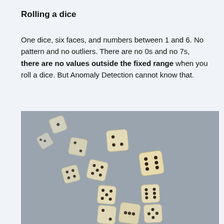Rolling a dice
One dice, six faces, and numbers between 1 and 6. No pattern and no outliers. There are no 0s and no 7s, there are no values outside the fixed range when you roll a dice. But Anomaly Detection cannot know that.
[Figure (photo): Photo of multiple ivory/cream-colored dice tumbling through the air against a gray background, showing various faces with black dots.]